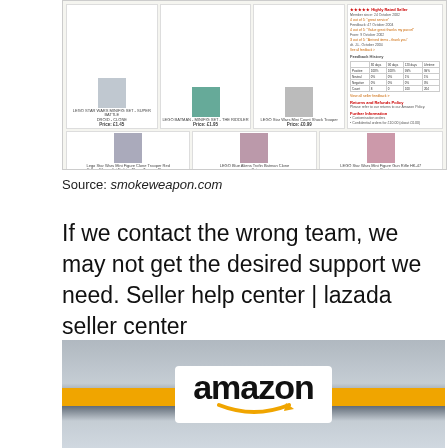[Figure (screenshot): Screenshot of an online marketplace (smokeweapon.com) showing LEGO minifigure product listings in a grid layout with product images, names, and prices, alongside a sidebar with feedback history and policy information.]
Source: smokeweapon.com
If we contact the wrong team, we may not get the desired support we need. Seller help center | lazada seller center
[Figure (photo): Photograph of an Amazon store sign — white panel with bold black 'amazon' text and orange arrow logo, mounted on a dark grey building facade with an orange horizontal stripe.]